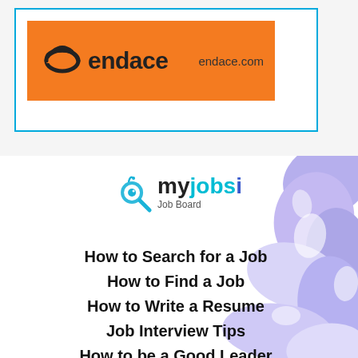[Figure (logo): Endace logo on orange banner with endace.com domain text, inside a blue-bordered white box]
[Figure (logo): myjobsi Job Board logo with magnifying glass bird icon, my in dark, jobs in cyan, i in blue]
How to Search for a Job
How to Find a Job
How to Write a Resume
Job Interview Tips
How to be a Good Leader